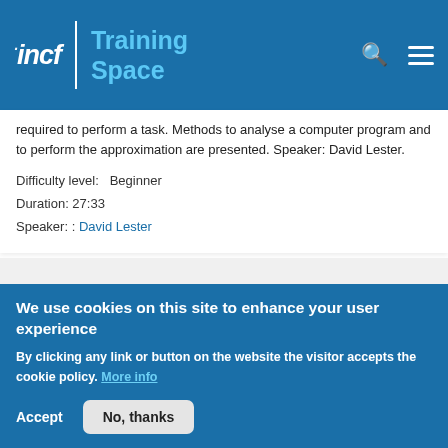incf | Training Space
required to perform a task. Methods to analyse a computer program and to perform the approximation are presented. Speaker: David Lester.
Difficulty level:   Beginner
Duration: 27:33
Speaker: : David Lester
Jupyter notebooks for teaching and learning
We use cookies on this site to enhance your user experience
By clicking any link or button on the website the visitor accepts the cookie policy. More info
Accept   No, thanks